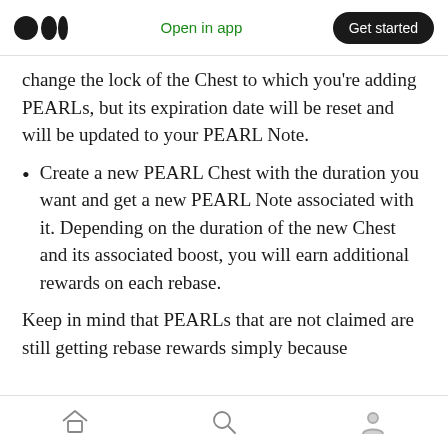Medium logo | Open in app | Get started
change the lock of the Chest to which you're adding PEARLs, but its expiration date will be reset and will be updated to your PEARL Note.
Create a new PEARL Chest with the duration you want and get a new PEARL Note associated with it. Depending on the duration of the new Chest and its associated boost, you will earn additional rewards on each rebase.
Keep in mind that PEARLs that are not claimed are still getting rebase rewards simply because
Home | Search | Profile